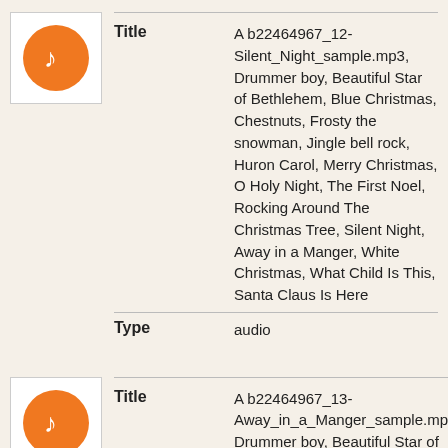[Figure (illustration): Orange circle music note icon in white bordered box]
Title: A b22464967_12-Silent_Night_sample.mp3, Drummer boy, Beautiful Star of Bethlehem, Blue Christmas, Chestnuts, Frosty the snowman, Jingle bell rock, Huron Carol, Merry Christmas, O Holy Night, The First Noel, Rocking Around The Christmas Tree, Silent Night, Away in a Manger, White Christmas, What Child Is This, Santa Claus Is Here
Type: audio
[Figure (illustration): Orange circle music note icon in white bordered box]
Title: A b22464967_13-Away_in_a_Manger_sample.mp3, Drummer boy, Beautiful Star of Bethlehem, Blue Christmas, Chestnuts, Frosty the snowman, Jingle bell rock, Huron Carol, Merry